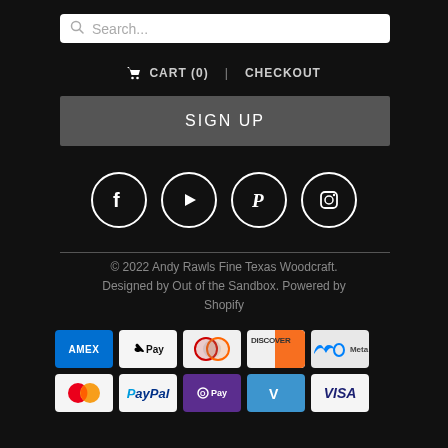[Figure (screenshot): Search bar with magnifying glass icon and placeholder text 'Search...']
🛒 CART (0)   CHECKOUT
SIGN UP
[Figure (other): Four social media icons in circles: Facebook, YouTube, Pinterest, Instagram]
© 2022 Andy Rawls Fine Texas Woodcraft. Designed by Out of the Sandbox. Powered by Shopify
[Figure (other): Payment method icons: AMEX, Apple Pay, Diners Club, Discover, Meta Pay, Mastercard, PayPal, O Pay, Venmo, Visa]